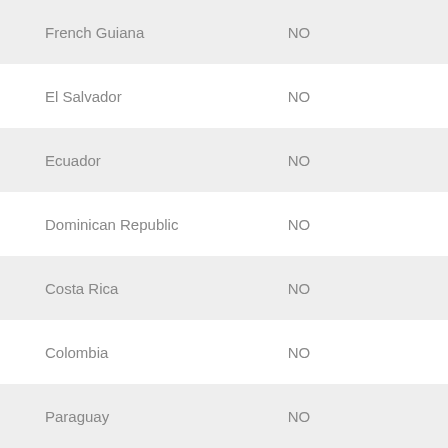| Country | Value |
| --- | --- |
| French Guiana | NO |
| El Salvador | NO |
| Ecuador | NO |
| Dominican Republic | NO |
| Costa Rica | NO |
| Colombia | NO |
| Paraguay | NO |